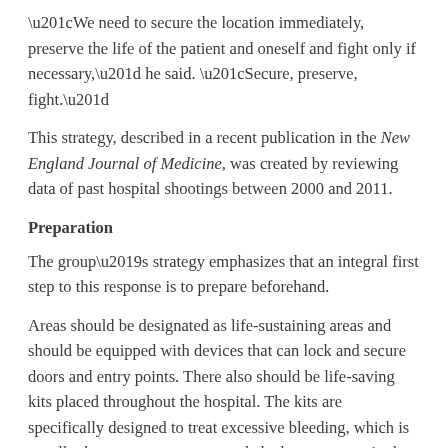“We need to secure the location immediately, preserve the life of the patient and oneself and fight only if necessary,” he said. “Secure, preserve, fight.”
This strategy, described in a recent publication in the New England Journal of Medicine, was created by reviewing data of past hospital shootings between 2000 and 2011.
Preparation
The group’s strategy emphasizes that an integral first step to this response is to prepare beforehand.
Areas should be designated as life-sustaining areas and should be equipped with devices that can lock and secure doors and entry points. There also should be life-saving kits placed throughout the hospital. The kits are specifically designed to treat excessive bleeding, which is usually the most urgent care needed when someone is shot. Proper training for hospital employees on how to use the kits also is needed.